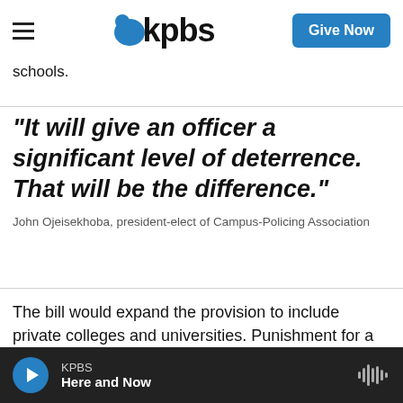KPBS — Give Now
schools.
"It will give an officer a significant level of deterrence. That will be the difference."
John Ojeisekhoba, president-elect of Campus-Policing Association
The bill would expand the provision to include private colleges and universities. Punishment for a
KPBS — Here and Now